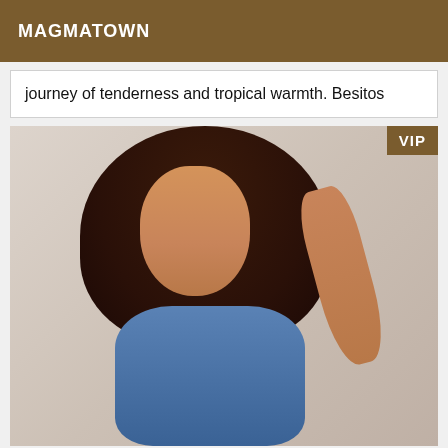MAGMATOWN
journey of tenderness and tropical warmth. Besitos
[Figure (photo): A young woman with long dark wavy hair wearing a denim shirt, posed against a light background. A VIP badge appears in the top-right corner of the image.]